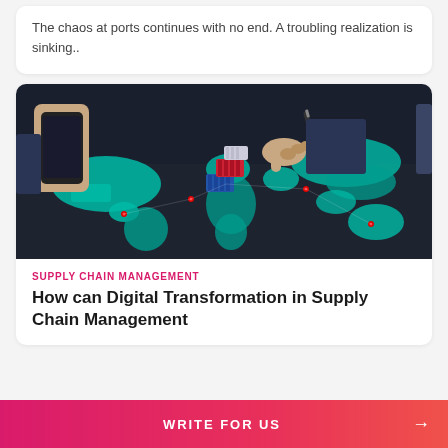The chaos at ports continues with no end. A troubling realization is sinking..
[Figure (photo): Person holding a smartphone in one hand while pointing at miniature shipping containers placed on a world map in a dark setting, illustrating supply chain and global logistics.]
SUPPLY CHAIN MANAGEMENT
How can Digital Transformation in Supply Chain Management
WRITE FOR US →